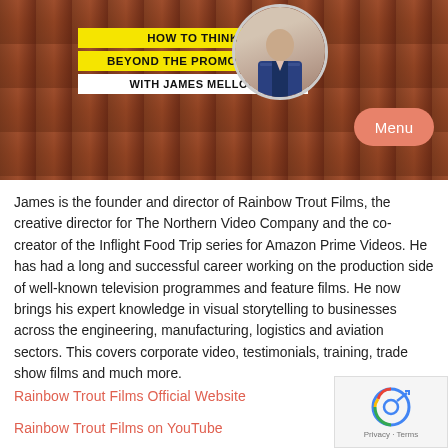[Figure (screenshot): Banner with brick wall background showing podcast/video title 'HOW TO THINK BEYOND THE PROMO VIDEO WITH JAMES MELLOR' in yellow and white boxes, with a circular portrait of a man in a suit on the right, and a salmon-colored Menu button.]
James is the founder and director of Rainbow Trout Films, the creative director for The Northern Video Company and the co-creator of the Inflight Food Trip series for Amazon Prime Videos. He has had a long and successful career working on the production side of well-known television programmes and feature films. He now brings his expert knowledge in visual storytelling to businesses across the engineering, manufacturing, logistics and aviation sectors. This covers corporate video, testimonials, training, trade show films and much more.
Rainbow Trout Films Official Website
Rainbow Trout Films on YouTube